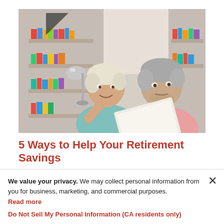[Figure (photo): Two middle-aged people, a woman with short white-blonde hair resting her chin on her hand and a man with grey hair wearing a pink shirt, looking at a document together. Background shows bookshelves and a lamp in a home setting.]
5 Ways to Help Your Retirement Savings
We value your privacy. We may collect personal information from you for business, marketing, and commercial purposes. Read more
Do Not Sell My Personal Information (CA residents only)